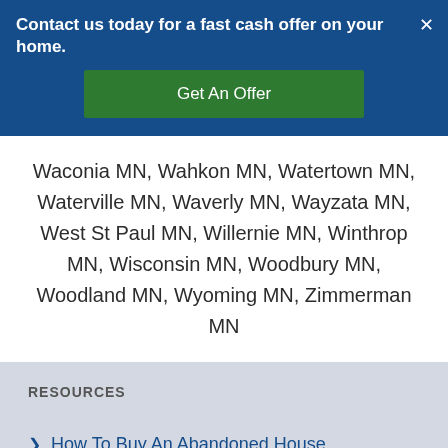Contact us today for a fast cash offer on your home.
Get An Offer
Waconia MN, Wahkon MN, Watertown MN, Waterville MN, Waverly MN, Wayzata MN, West St Paul MN, Willernie MN, Winthrop MN, Wisconsin MN, Woodbury MN, Woodland MN, Wyoming MN, Zimmerman MN
RESOURCES
How To Buy An Abandoned House
How To Sell A Mobile Home